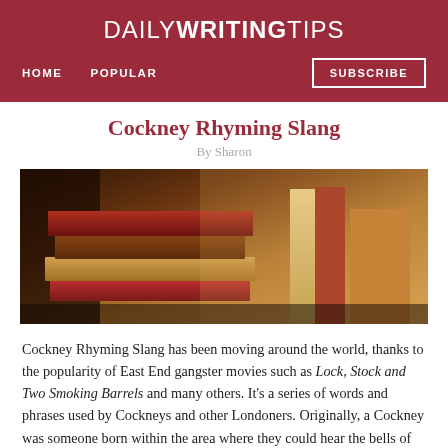DAILY WRITING TIPS
HOME   POPULAR   SUBSCRIBE
Cockney Rhyming Slang
By Sharon
[Figure (photo): Stack of books piled on top of each other, warm brown tones, photographed in dim ambient light]
Cockney Rhyming Slang has been moving around the world, thanks to the popularity of East End gangster movies such as Lock, Stock and Two Smoking Barrels and many others. It’s a series of words and phrases used by Cockneys and other Londoners. Originally, a Cockney was someone born within the area where they could hear the bells of St Mary le Bow church in Cheapside, London. (This is known as being born within the